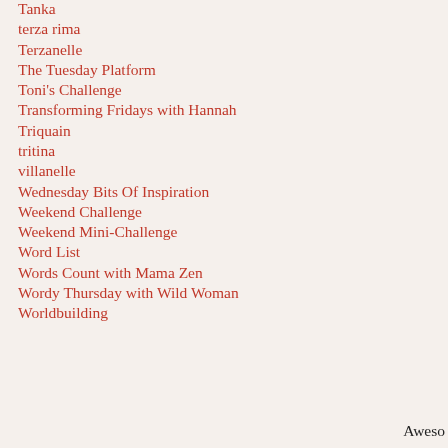Tanka
terza rima
Terzanelle
The Tuesday Platform
Toni's Challenge
Transforming Fridays with Hannah
Triquain
tritina
villanelle
Wednesday Bits Of Inspiration
Weekend Challenge
Weekend Mini-Challenge
Word List
Words Count with Mama Zen
Wordy Thursday with Wild Woman
Worldbuilding
Aweso